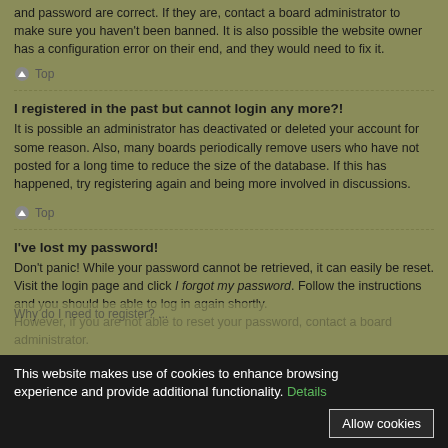and password are correct. If they are, contact a board administrator to make sure you haven't been banned. It is also possible the website owner has a configuration error on their end, and they would need to fix it.
Top
I registered in the past but cannot login any more?!
It is possible an administrator has deactivated or deleted your account for some reason. Also, many boards periodically remove users who have not posted for a long time to reduce the size of the database. If this has happened, try registering again and being more involved in discussions.
Top
I've lost my password!
Don't panic! While your password cannot be retrieved, it can easily be reset. Visit the login page and click I forgot my password. Follow the instructions and you should be able to log in again shortly.
However, if you are not able to reset your password, contact a board administrator.
Top
This website makes use of cookies to enhance browsing experience and provide additional functionality. Details  Allow cookies